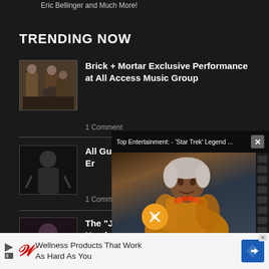Eric Bellinger and Much More!
TRENDING NOW
Brick + Mortar Exclusive Performance at All Access Music Group
1 Comment
[Figure (photo): Thumbnail photo of Brick + Mortar band]
All Gui... Cover ... with Er...
1 Comme...
[Figure (photo): Thumbnail black and white guitarist photo]
[Figure (screenshot): Video popup overlay: Top Entertainment - Star Trek Legend with woman with silver hair wearing orange beaded necklace. Mute button visible.]
Top Entertainment: - 'Star Trek' Legend ...
The "Ji... Haydn...
[Figure (photo): Thumbnail of woman with dark hair]
[Figure (advertisement): Walgreens ad - Wellness Products That Work As Hard As You]
Wellness Products That Work As Hard As You